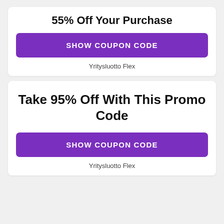55% Off Your Purchase
SHOW COUPON CODE
Yritysluotto Flex
Take 95% Off With This Promo Code
SHOW COUPON CODE
Yritysluotto Flex